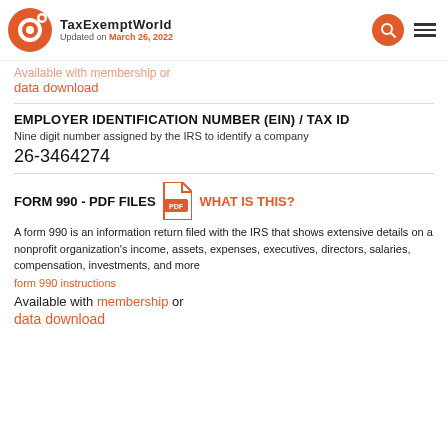TaxExemptWorld Updated on March 26, 2022
Available with membership or data download
EMPLOYER IDENTIFICATION NUMBER (EIN) / TAX ID
Nine digit number assigned by the IRS to identify a company
26-3464274
FORM 990 - PDF FILES WHAT IS THIS?
A form 990 is an information return filed with the IRS that shows extensive details on a nonprofit organization's income, assets, expenses, executives, directors, salaries, compensation, investments, and more
form 990 instructions
Available with membership or data download